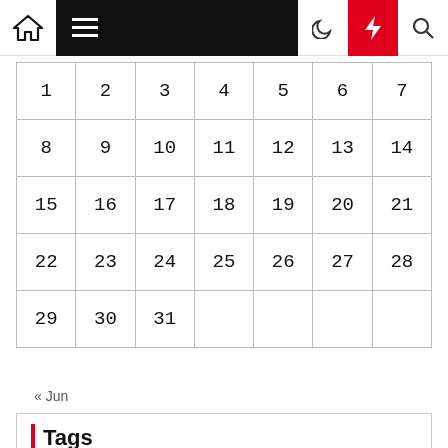| 1 | 2 | 3 | 4 | 5 | 6 | 7 |
| 8 | 9 | 10 | 11 | 12 | 13 | 14 |
| 15 | 16 | 17 | 18 | 19 | 20 | 21 |
| 22 | 23 | 24 | 25 | 26 | 27 | 28 |
| 29 | 30 | 31 |  |  |  |  |
« Jun
Tags
ANGELES  AUTO  AUTOMOTIVE  BICYCLE  BIKE  BUSINESS  CALIFORNIA  CAR  CARS  COMPUTER